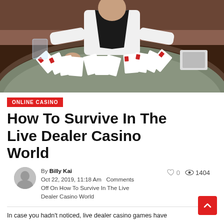[Figure (photo): Casino dealer in a black vest and bow tie standing behind a green felt table covered with playing cards spread out in a fan pattern. The scene is a live dealer casino setting.]
ONLINE CASINO
How To Survive In The Live Dealer Casino World
By Billy Kai Oct 22, 2019, 11:18 Am Comments Off On How To Survive In The Live Dealer Casino World
In case you hadn't noticed, live dealer casino games have